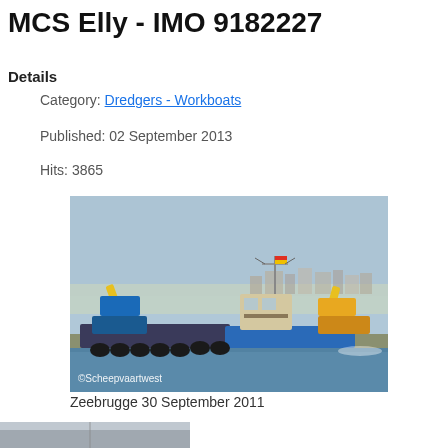MCS Elly - IMO 9182227
Details
Category: Dredgers - Workboats
Published: 02 September 2013
Hits: 3865
[Figure (photo): Workboat MCS Elly with excavators on deck, photographed at Zeebrugge. Copyright Scheepvaartwest.]
Zeebrugge 30 September 2011
[Figure (photo): Partial view of a second vessel photograph, cut off at bottom of page.]